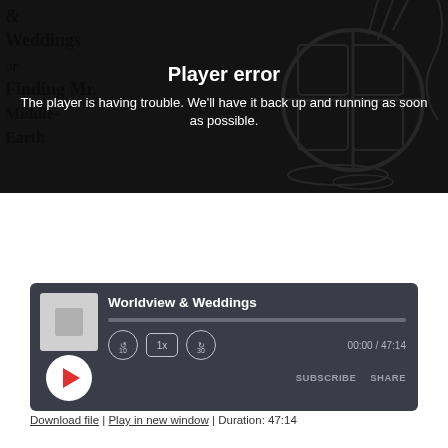[Figure (screenshot): Video/audio player showing a 'Player error' message overlaid on a dark illustrated background featuring a hobbit-hole style circular door and book title text '& Weddings or Finding Mr. Middle-Earth'. Error text reads: 'Player error — The player is having trouble. We'll have it back up and running as soon as possible.']
[Figure (screenshot): Audio player widget with dark background showing title 'Worldview & Weddings', album art placeholder, play button (red triangle), rewind 10s button, 1x speed button, forward 30s button, progress bar, time display '00:00 / 47:14', SUBSCRIBE and SHARE buttons.]
Download file | Play in new window | Duration: 47:14